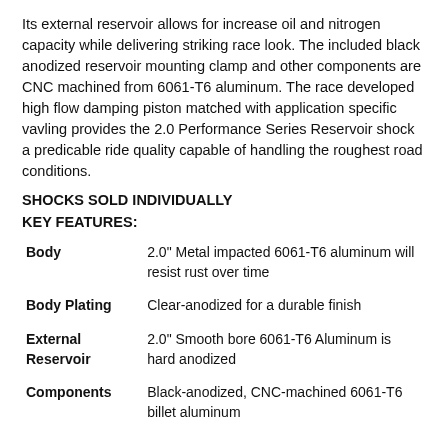Its external reservoir allows for increase oil and nitrogen capacity while delivering striking race look. The included black anodized reservoir mounting clamp and other components are CNC machined from 6061-T6 aluminum. The race developed high flow damping piston matched with application specific vavling provides the 2.0 Performance Series Reservoir shock a predicable ride quality capable of handling the roughest road conditions.
SHOCKS SOLD INDIVIDUALLY
KEY FEATURES:
| Feature | Description |
| --- | --- |
| Body | 2.0" Metal impacted 6061-T6 aluminum will resist rust over time |
| Body Plating | Clear-anodized for a durable finish |
| External Reservoir | 2.0" Smooth bore 6061-T6 Aluminum is hard anodized |
| Components | Black-anodized, CNC-machined 6061-T6 billet aluminum |